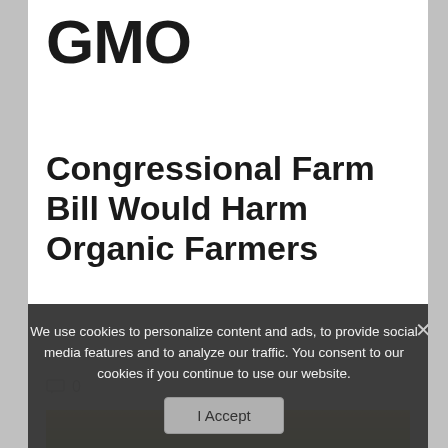GMO
Congressional Farm Bill Would Harm Organic Farmers
0
[Figure (photo): A farmer working in a green field with a red tractor visible in the background, surrounded by lush crops.]
We use cookies to personalize content and ads, to provide social media features and to analyze our traffic. You consent to our cookies if you continue to use our website.
I Accept